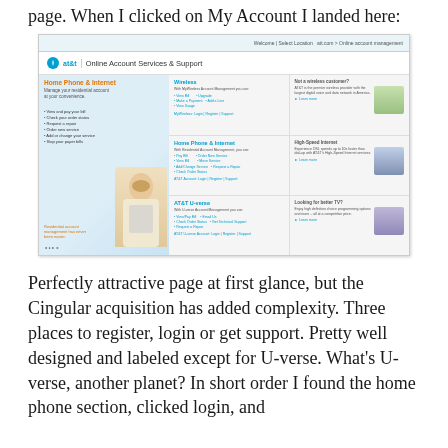page. When I clicked on My Account I landed here:
[Figure (screenshot): Screenshot of AT&T Online Account Services & Support page showing Home Phone & Internet, Wireless, AT&T U-verse sections with login/register/support links]
Perfectly attractive page at first glance, but the Cingular acquisition has added complexity. Three places to register, login or get support. Pretty well designed and labeled except for U-verse. What's U-verse, another planet? In short order I found the home phone section, clicked login, and